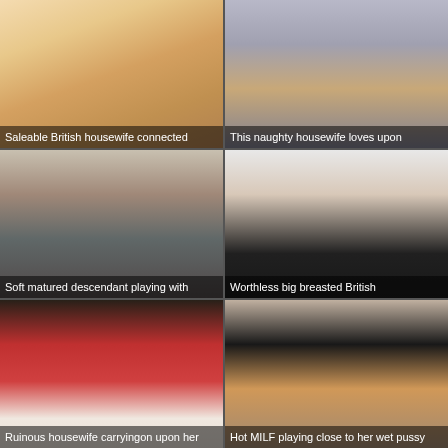[Figure (photo): Blonde woman lying down, warm tones]
Saleable British housewife connected
[Figure (photo): Woman sitting on bed in white shirt and skirt with stockings]
This naughty housewife loves upon
[Figure (photo): Red-haired woman in kitchen area removing top]
Soft matured descendant playing with
[Figure (photo): Woman in white and black bra posing against white background]
Worthless big breasted British
[Figure (photo): Dark-haired woman in red dress lying on white bed]
Ruinous housewife carryingon upon her
[Figure (photo): Blonde woman in black outfit on fur]
Hot MILF playing close to her wet pussy